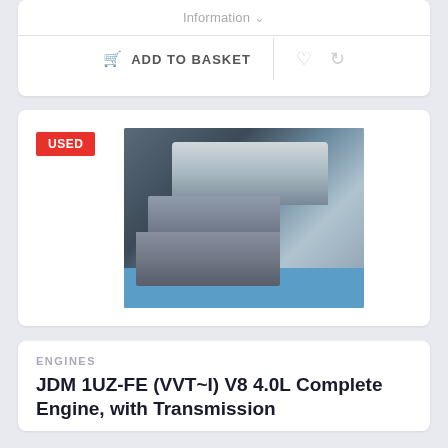Information ∨
ADD TO BASKET
USED
[Figure (photo): JDM 1UZ-FE V8 engine with transmission sitting on a blue pallet, viewed from above at an angle, showing intake manifold and gearbox]
ENGINES
JDM 1UZ-FE (VVT~I) V8 4.0L Complete Engine, with Transmission